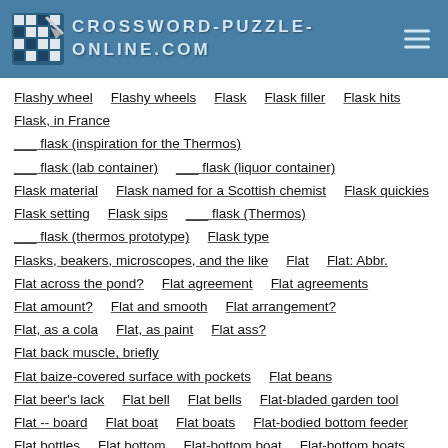CROSSWORD-PUZZLE-ONLINE.COM
Flashy wheel
Flashy wheels
Flask
Flask filler
Flask hits
Flask, in France
___ flask (inspiration for the Thermos)
___ flask (lab container)
___ flask (liquor container)
Flask material
Flask named for a Scottish chemist
Flask quickies
Flask setting
Flask sips
___ flask (Thermos)
___ flask (thermos prototype)
Flask type
Flasks, beakers, microscopes, and the like
Flat
Flat: Abbr.
Flat across the pond?
Flat agreement
Flat agreements
Flat amount?
Flat and smooth
Flat arrangement?
Flat, as a cola
Flat, as paint
Flat ass?
Flat back muscle, briefly
Flat baize-covered surface with pockets
Flat beans
Flat beer's lack
Flat bell
Flat bells
Flat-bladed garden tool
Flat -- board
Flat boat
Flat boats
Flat-bodied bottom feeder
Flat bottles
Flat bottom
Flat-bottom boat
Flat-bottom boats